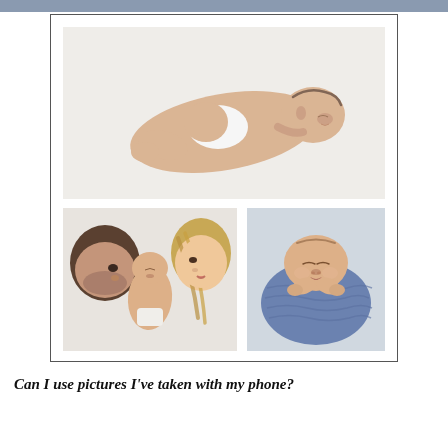[Figure (photo): Collage of three newborn baby photos. Top: a sleeping newborn baby lying on a white surface wearing only a diaper, photographed from the side. Bottom left: overhead view of a newborn baby lying between two parents (a man on the left and a woman on the right) on a white bed. Bottom right: a close-up of a sleeping newborn baby wrapped in a blue knit blanket.]
Can I use pictures I've taken with my phone?